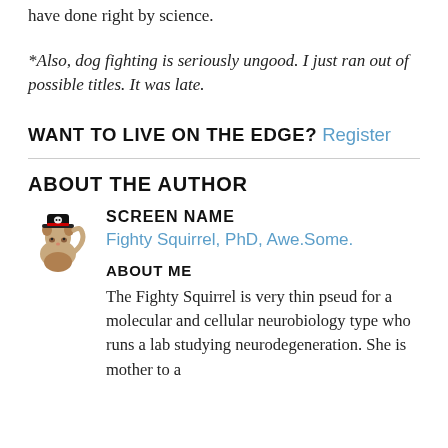have done right by science.
*Also, dog fighting is seriously ungood. I just ran out of possible titles. It was late.
WANT TO LIVE ON THE EDGE? Register
ABOUT THE AUTHOR
SCREEN NAME
Fighty Squirrel, PhD, Awe.Some.
ABOUT ME
The Fighty Squirrel is very thin pseud for a molecular and cellular neurobiology type who runs a lab studying neurodegeneration. She is mother to a